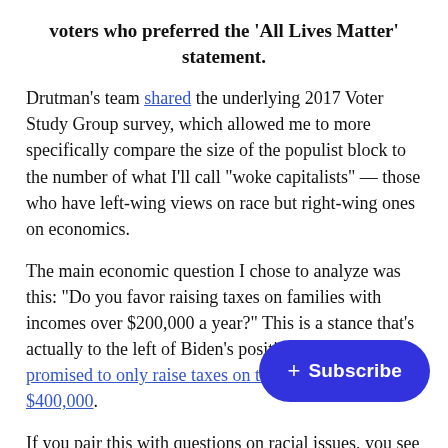voters who preferred the 'All Lives Matter' statement.
Drutman's team shared the underlying 2017 Voter Study Group survey, which allowed me to more specifically compare the size of the populist block to the number of what I'll call "woke capitalists" — those who have left-wing views on race but right-wing ones on economics.
The main economic question I chose to analyze was this: "Do you favor raising taxes on families with incomes over $200,000 a year?" This is a stance that's actually to the left of Biden's position, given that he's promised to only raise taxes on those making over $400,000.
If you pair this with questions on racial issues, you see